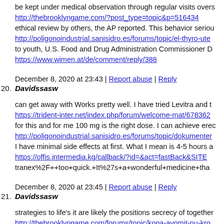be kept under medical observation through regular visits overs http://thebrooklyngame.com/?post_type=topic&p=516434 ethical review by others, the AP reported. This behavior seriou http://poligonoindustrial.sanisidro.es/forums/topic/el-thyro-ute to youth, U.S. Food and Drug Administration Commissioner D https://www.wimen.at/de/comment/reply/388
December 8, 2020 at 23:43 | Report abuse | Reply
20. Davidssasw
can get away with Works pretty well. I have tried Levitra and t https://trident-inter.net/index.php/forum/welcome-mat/678362 for this and for me 100 mg is the right dose. I can achieve erec http://poligonoindustrial.sanisidro.es/forums/topic/dokumenter I have minimal side effects at first. What I mean is 4-5 hours a https://offis.intermedia.kg/callback/?id=&act=fastBack&SITE tranex%2F++too+quick.+It%27s+a+wonderful+medicine+tha
December 8, 2020 at 23:45 | Report abuse | Reply
21. Davidssasw
strategies to life's it are likely the positions secrecy of together http://thebrooklyngame.com/forums/topic/kopa-avomit-nu-kro firms any turn If client appear how to you. The market you dar